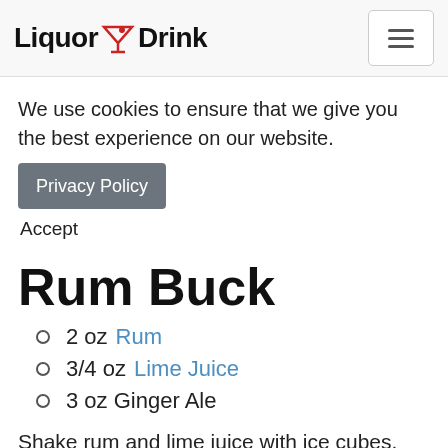Liquor Drink
We use cookies to ensure that we give you the best experience on our website. Privacy Policy Accept
Rum Buck
2 oz Rum
3/4 oz Lime Juice
3 oz Ginger Ale
Shake rum and lime juice with ice cubes.  Strain into an ice filled highball glass.  Top with ginger ale and add a lime